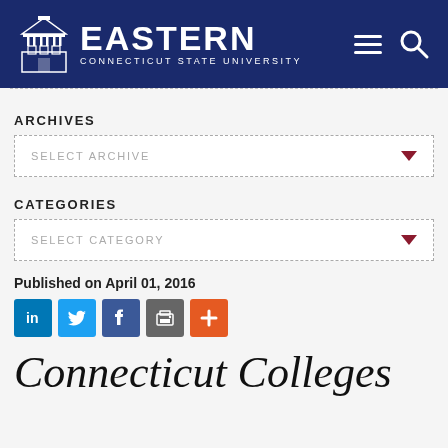[Figure (logo): Eastern Connecticut State University logo with building icon and text on dark navy header bar, with hamburger menu and search icons on right]
ARCHIVES
SELECT ARCHIVE
CATEGORIES
SELECT CATEGORY
Published on April 01, 2016
[Figure (infographic): Social sharing icons row: LinkedIn (blue), Twitter (light blue), Facebook (dark blue), Email/print (grey), Plus/more (orange-red)]
Connecticut Colleges